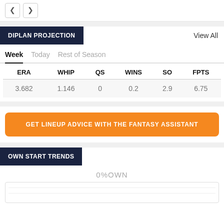‹ ›
DIPLAN PROJECTION
View All
Week  Today  Rest of Season
| ERA | WHIP | QS | WINS | SO | FPTS |
| --- | --- | --- | --- | --- | --- |
| 3.682 | 1.146 | 0 | 0.2 | 2.9 | 6.75 |
GET LINEUP ADVICE WITH THE FANTASY ASSISTANT
OWN START TRENDS
0%OWN
[Figure (other): Empty chart box with horizontal lines]